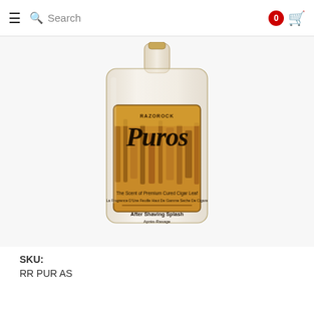Search
[Figure (photo): RazoRock Puros After Shaving Splash bottle — a clear glass flask-shaped bottle with a label featuring 'Puros' in large stylized text over an image of cured tobacco leaves. Label text: 'The Scent of Premium Cured Cigar Leaf / La Fragance D'Une Feuille Haut De Gamme Seche De Cigare / After Shaving Splash / Après-Rasage']
SKU:
RR PUR AS